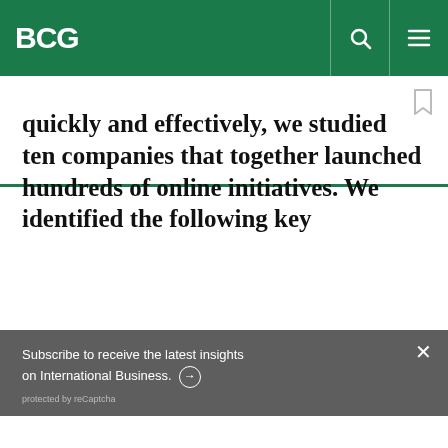BCG
quickly and effectively, we studied ten companies that together launched hundreds of online initiatives. We identified the following key
Subscribe to receive the latest insights on International Business. ➔
protected by reCaptcha
By using this site, you agree with our use of cookies.
I consent to cookies
Want to know more?
Read our Cookie Policy